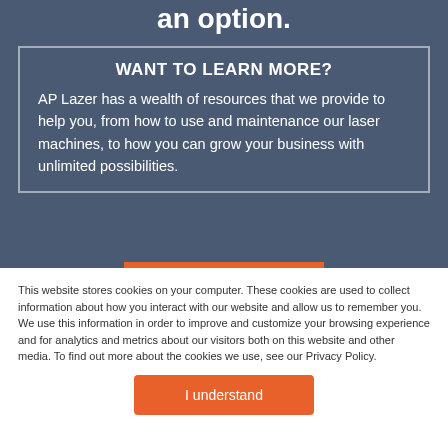an option.
WANT TO LEARN MORE?
AP Lazer has a wealth of resources that we provide to help you, from how to use and maintenance our laser machines, to how you can grow your business with unlimited possibilities.
This website stores cookies on your computer. These cookies are used to collect information about how you interact with our website and allow us to remember you. We use this information in order to improve and customize your browsing experience and for analytics and metrics about our visitors both on this website and other media. To find out more about the cookies we use, see our Privacy Policy.
I understand